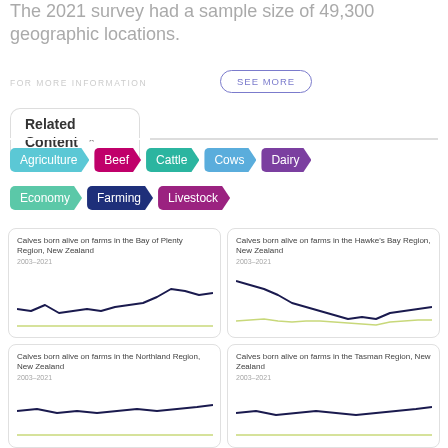The 2021 survey had a sample size of 49,300 geographic locations.
FOR MORE INFORMATION
SEE MORE
Related Content
Agriculture
Beef
Cattle
Cows
Dairy
Economy
Farming
Livestock
[Figure (line-chart): Two line chart showing calves born alive, dark navy line trending upward, light yellow-green line flat near bottom]
[Figure (line-chart): Two line chart showing calves born alive, dark navy line declining then recovering, light yellow-green line near bottom]
[Figure (line-chart): Line chart preview, partially visible]
[Figure (line-chart): Line chart preview, partially visible]